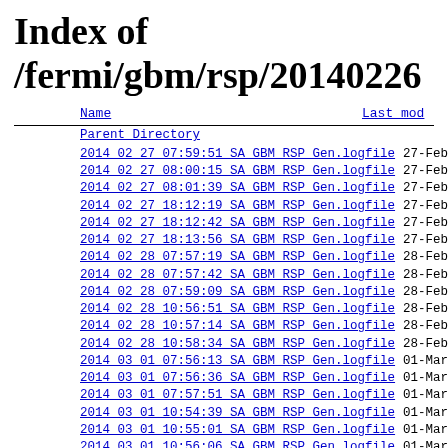Index of /fermi/gbm/rsp/20140226
| Name | Last mod |
| --- | --- |
| Parent Directory |  |
| 2014 02 27 07:59:51 SA GBM RSP Gen.logfile | 27-Feb-2 |
| 2014 02 27 08:00:15 SA GBM RSP Gen.logfile | 27-Feb-2 |
| 2014 02 27 08:01:39 SA GBM RSP Gen.logfile | 27-Feb-2 |
| 2014 02 27 18:12:19 SA GBM RSP Gen.logfile | 27-Feb-2 |
| 2014 02 27 18:12:42 SA GBM RSP Gen.logfile | 27-Feb-2 |
| 2014 02 27 18:13:56 SA GBM RSP Gen.logfile | 27-Feb-2 |
| 2014 02 28 07:57:19 SA GBM RSP Gen.logfile | 28-Feb-2 |
| 2014 02 28 07:57:42 SA GBM RSP Gen.logfile | 28-Feb-2 |
| 2014 02 28 07:59:09 SA GBM RSP Gen.logfile | 28-Feb-2 |
| 2014 02 28 10:56:51 SA GBM RSP Gen.logfile | 28-Feb-2 |
| 2014 02 28 10:57:14 SA GBM RSP Gen.logfile | 28-Feb-2 |
| 2014 02 28 10:58:34 SA GBM RSP Gen.logfile | 28-Feb-2 |
| 2014 03 01 07:56:13 SA GBM RSP Gen.logfile | 01-Mar-2 |
| 2014 03 01 07:56:36 SA GBM RSP Gen.logfile | 01-Mar-2 |
| 2014 03 01 07:57:51 SA GBM RSP Gen.logfile | 01-Mar-2 |
| 2014 03 01 10:54:39 SA GBM RSP Gen.logfile | 01-Mar-2 |
| 2014 03 01 10:55:01 SA GBM RSP Gen.logfile | 01-Mar-2 |
| 2014 03 01 10:56:06 SA GBM RSP Gen.logfile | 01-Mar-2 |
| 2014 03 02 07:49:19 SA GBM RSP Gen.logfile | 02-Mar-2 |
| 2014 03 02 07:50:03 SA GBM RSP Gen.logfile | 02-Mar-2 |